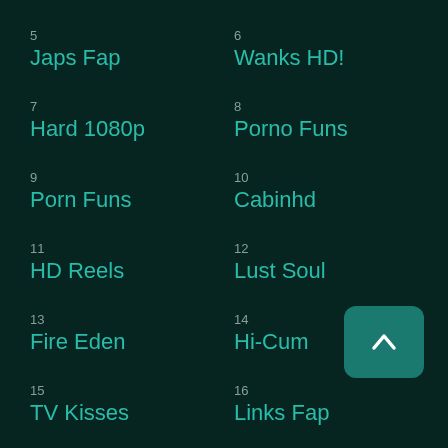5
Japs Fap
6
Wanks HD!
7
Hard 1080p
8
Porno Funs
9
Porn Funs
10
Cabinhd
11
HD Reels
12
Lust Soul
13
Fire Eden
14
Hi-Cum
15
TV Kisses
16
Links Fap
17
Sets? OK!
18
Max Wanks
19
Flesh Yes!
20
Max Rolls
21
22